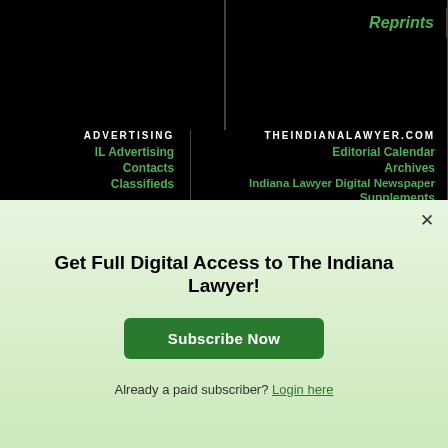Reprints
ADVERTISING | THEINDIANALAWYER.COM
IL Advertising
Contacts
Classifieds
Editorial Calendar
Archives
Indiana Lawyer Digital Newspaper
Supplements
Get Full Digital Access to The Indiana Lawyer!
Subscribe Now
Already a paid subscriber? Login here